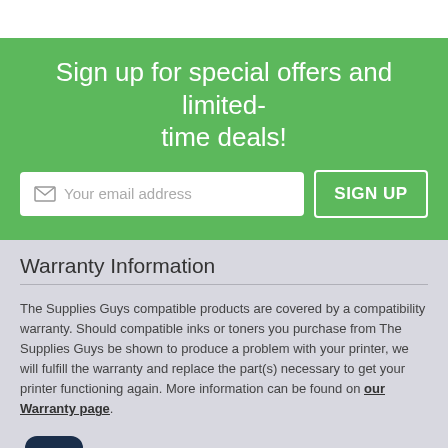Sign up for special offers and limited-time deals!
Your email address
SIGN UP
Warranty Information
The Supplies Guys compatible products are covered by a compatibility warranty. Should compatible inks or toners you purchase from The Supplies Guys be shown to produce a problem with your printer, we will fulfill the warranty and replace the part(s) necessary to get your printer functioning again. More information can be found on our Warranty page.
Free Shipping
[Figure (illustration): Chat bubble / customer support icon with quotation marks and a smiley face]
Top
* Free Shipping is limited to Ground shipping in the contiguous 48 states